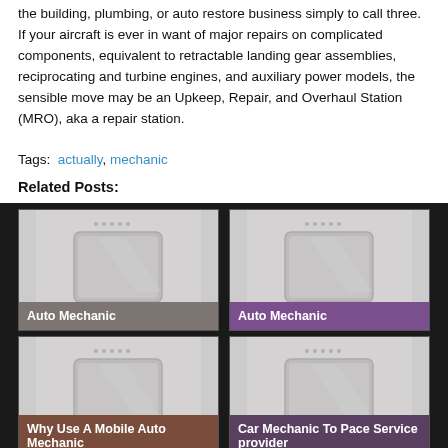the building, plumbing, or auto restore business simply to call three. If your aircraft is ever in want of major repairs on complicated components, equivalent to retractable landing gear assemblies, reciprocating and turbine engines, and auxiliary power models, the sensible move may be an Upkeep, Repair, and Overhaul Station (MRO), aka a repair station.
Tags: actually, mechanic
Related Posts:
[Figure (photo): Placeholder image card labeled Auto Mechanic with gray overlay]
[Figure (photo): Placeholder image card labeled Auto Mechanic with purple overlay]
[Figure (photo): Placeholder image card labeled Why Use A Mobile Auto Mechanic with brown overlay]
[Figure (photo): Placeholder image card labeled Car Mechanic To Pace Service provider with dark overlay]